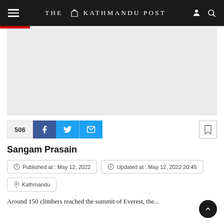THE KATHMANDU POST
[Figure (photo): Gray placeholder image area for article photo]
506 [social share icons: Facebook, Twitter, Email] [bookmark icon]
Sangam Prasain
Published at : May 12, 2022
Updated at : May 12, 2022 20:45
Kathmandu
Around 150 climbers reached the summit of Everest, the...